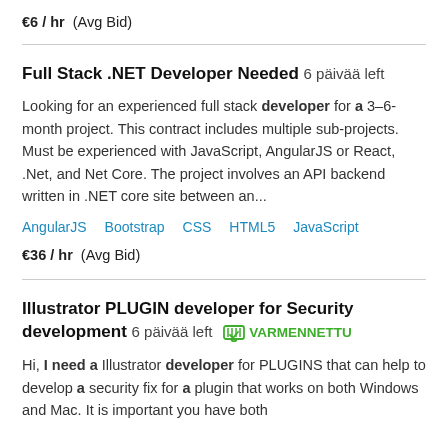€6 / hr  (Avg Bid)
Full Stack .NET Developer Needed  6 päivää left
Looking for an experienced full stack developer for a 3–6-month project. This contract includes multiple sub-projects. Must be experienced with JavaScript, AngularJS or React, .Net, and Net Core. The project involves an API backend written in .NET core site between an...
AngularJS   Bootstrap   CSS   HTML5   JavaScript
€36 / hr  (Avg Bid)
Illustrator PLUGIN developer for Security development  6 päivää left  VARMENNETTU
Hi, I need a Illustrator developer for PLUGINS that can help to develop a security fix for a plugin that works on both Windows and Mac. It is important you have both